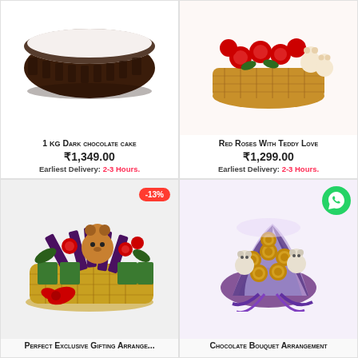[Figure (photo): 1 kg dark chocolate cake product image, round chocolate cake with dark ganache]
1 kg Dark chocolate cake
₹1,349.00
Earliest Delivery:  2-3 Hours.
[Figure (photo): Red Roses With Teddy Love product image, wicker basket with red roses and teddy bears]
Red Roses With Teddy Love
₹1,299.00
Earliest Delivery:  2-3 Hours.
[Figure (photo): Perfect Exclusive Gifting Arrangement basket with chocolates, roses and a teddy bear; -13% discount badge]
Perfect Exclusive Gifting Arrange...
[Figure (photo): Chocolate Bouquet Arrangement with Ferrero Rocher chocolates, teddy bears and purple ribbons; WhatsApp icon overlay]
Chocolate Bouquet Arrangement